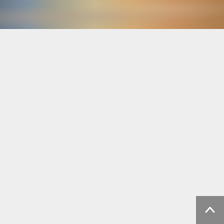[Figure (photo): Photograph showing people in a medical or clinical setting, partially cropped at top of page]
Article: Central Line, central place, Central Venous Catheter Featuring Procedures HPC Update, safety checklist
More Tags: central line, checklist, HPC update
Safety checklists have been adopted by numerous industries to prevent errors and save lives. Checklists have been used for decades by industries as diverse as the aviation industry, construction companies, and manufacturing before hospitals and medicine...